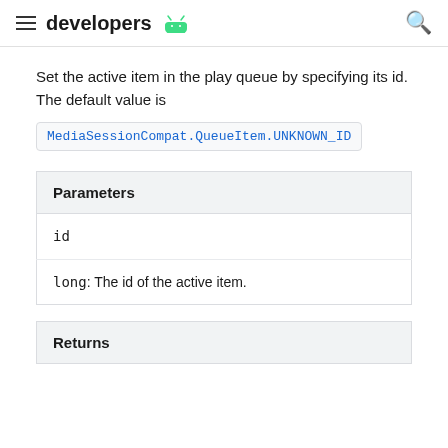developers
Set the active item in the play queue by specifying its id. The default value is
MediaSessionCompat.QueueItem.UNKNOWN_ID
| Parameters |
| --- |
| id |
| long: The id of the active item. |
| Returns |
| --- |